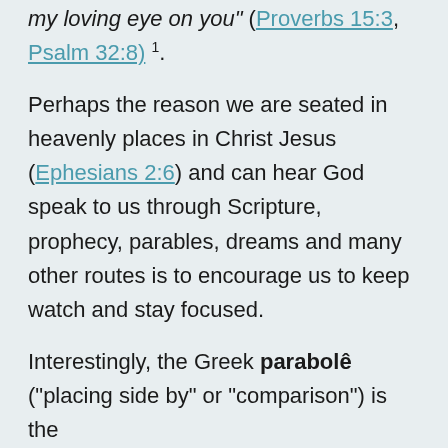my loving eye on you" (Proverbs 15:3, Psalm 32:8) ¹.
Perhaps the reason we are seated in heavenly places in Christ Jesus (Ephesians 2:6) and can hear God speak to us through Scripture, prophecy, parables, dreams and many other routes is to encourage us to keep watch and stay focused.
Interestingly, the Greek parabolê ("placing side by" or "comparison") is the